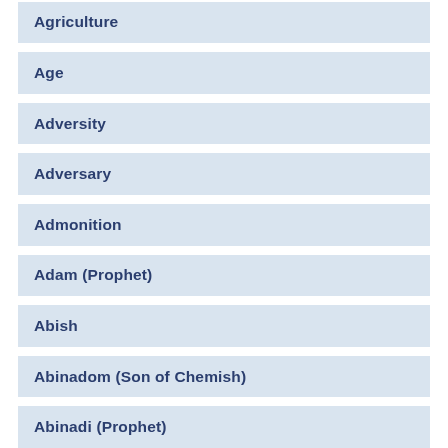Agriculture
Age
Adversity
Adversary
Admonition
Adam (Prophet)
Abish
Abinadom (Son of Chemish)
Abinadi (Prophet)